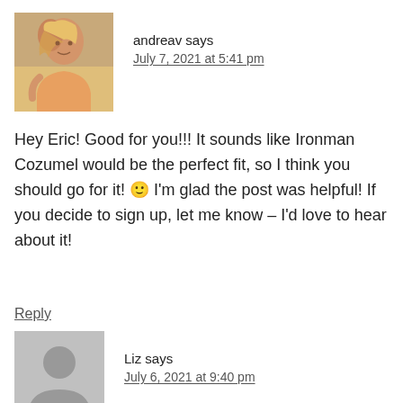[Figure (photo): Avatar photo of andreav — woman with blonde hair]
andreav says
July 7, 2021 at 5:41 pm
Hey Eric! Good for you!!! It sounds like Ironman Cozumel would be the perfect fit, so I think you should go for it! 🙂 I'm glad the post was helpful! If you decide to sign up, let me know – I'd love to hear about it!
Reply
[Figure (illustration): Generic user avatar placeholder — grey silhouette of a person]
Liz says
July 6, 2021 at 9:40 pm
Thanks for sharing! I am signed up for the full Ironman in Cozumel this year and really appreciated your blog!